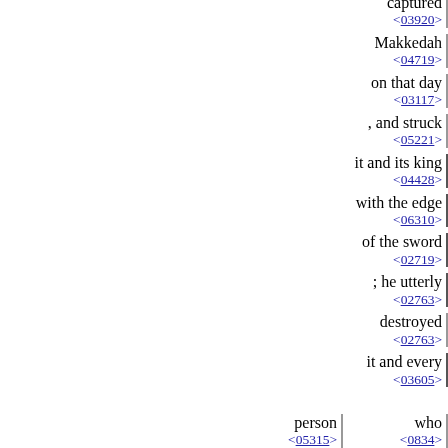captured <03920>
Makkedah <04719>
on that day <03117>
, and struck <05221>
it and its king <04428>
with the edge <06310>
of the sword <02719>
; he utterly <02763>
destroyed <02763>
it and every <03605>
person <05315>  who <0834>